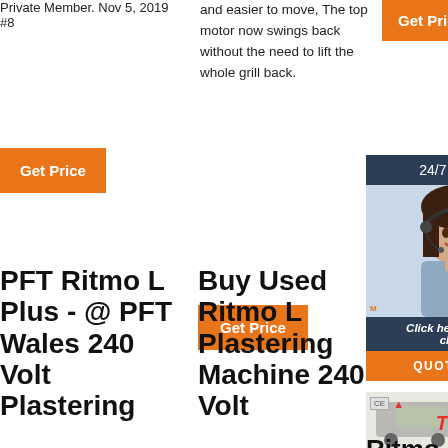Private Member. Nov 5, 2019 #8
and easier to move, The top motor now swings back without the need to lift the whole grill back.
Get Price
Get Price
Get Price
[Figure (photo): Customer service woman with headset smiling, with 24/7 Online label, Click here for free chat, and QUOTATION button]
PFT Ritmo L Plus - @ PFT Wales 240 Volt Plastering
Buy Used Ritmo L Plastering Machine 240 Volt
[Figure (logo): TOP logo with CE mark and brand icons, Ritmo L PLUS text below]